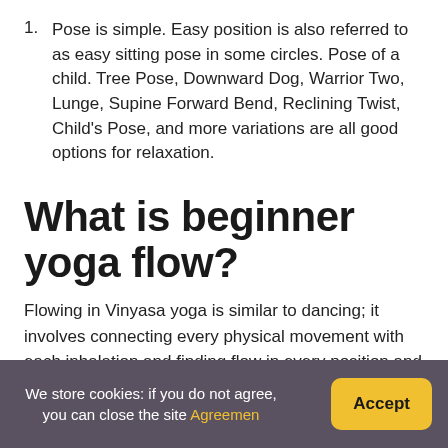1. Pose is simple. Easy position is also referred to as easy sitting pose in some circles. Pose of a child. Tree Pose, Downward Dog, Warrior Two, Lunge, Supine Forward Bend, Reclining Twist, Child's Pose, and more variations are all good options for relaxation.
What is beginner yoga flow?
Flowing in Vinyasa yoga is similar to dancing; it involves connecting every physical movement with each inhalation and finding flow in every position and transition. Many yoga newcomers complain of stiff hips and shoulders, which are frequently the primary
We store cookies: if you do not agree, you can close the site Agreemen  Accept